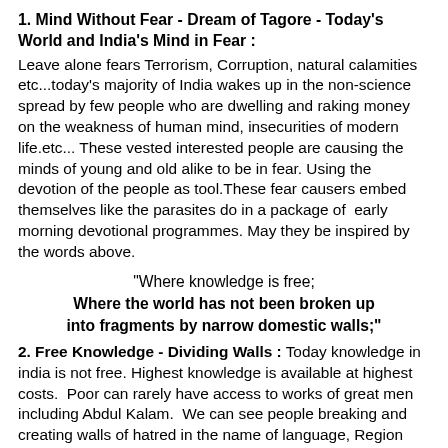1. Mind Without Fear - Dream of Tagore - Today's World and India's Mind in Fear :
Leave alone fears Terrorism, Corruption, natural calamities etc...today's majority of India wakes up in the non-science spread by few people who are dwelling and raking money on the weakness of human mind, insecurities of modern life.etc... These vested interested people are causing the minds of young and old alike to be in fear. Using the devotion of the people as tool.These fear causers embed themselves like the parasites do in a package of  early morning devotional programmes. May they be inspired by the words above.
"Where knowledge is free;
Where the world has not been broken up
into fragments by narrow domestic walls;"
2. Free Knowledge - Dividing Walls :
Today knowledge in india is not free. Highest knowledge is available at highest costs.  Poor can rarely have access to works of great men including Abdul Kalam.  We can see people breaking and creating walls of hatred in the name of language, Region